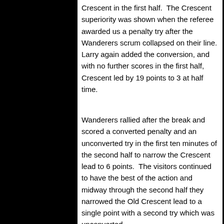Crescent in the first half.  The Crescent superiority was shown when the referee awarded us a penalty try after the Wanderers scrum collapsed on their line. Larry again added the conversion, and with no further scores in the first half, Crescent led by 19 points to 3 at half time.
Wanderers rallied after the break and scored a converted penalty and an unconverted try in the first ten minutes of the second half to narrow the Crescent lead to 6 points.  The visitors continued to have the best of the action and midway through the second half they narrowed the Old Crescent lead to a single point with a second try which was unconverted.